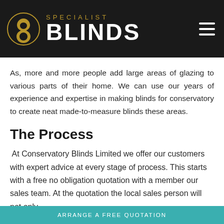[Figure (logo): Specialist Blinds logo: circular ornate gold icon on left, 'SPECIALIST' in gold letterspacd text above 'BLINDS' in large white bold text, on dark background. Hamburger menu icon top right.]
As, more and more people add large areas of glazing to various parts of their home. We can use our years of experience and expertise in making blinds for conservatory to create neat made-to-measure blinds these areas.
The Process
At Conservatory Blinds Limited we offer our customers with expert advice at every stage of process. This starts with a free no obligation quotation with a member our sales team. At the quotation the local sales person will not only
ARRANGE A FREE QUOTATION